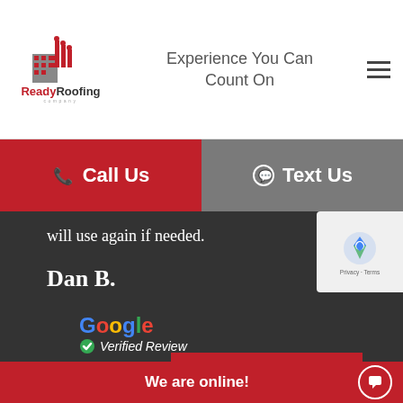[Figure (logo): Ready Roofing Company logo with house/building icon in red and grey]
Experience You Can Count On
Call Us
Text Us
will use again if needed.
Dan B.
[Figure (logo): Google Verified Review badge with Google logo and green checkmark]
[Figure (other): reCAPTCHA widget with Privacy and Terms links]
VIEW MORE REVIEWS
We are online!